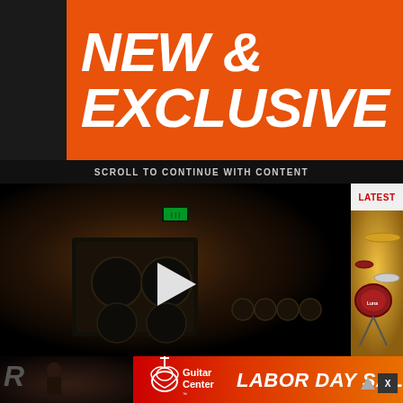[Figure (infographic): Orange background advertisement banner with large white bold italic text reading NEW & EXCLUSIVE]
SCROLL TO CONTINUE WITH CONTENT
[Figure (screenshot): Video player with dark background showing guitar amplifier equipment, with white play button triangle in center]
LATEST
[Figure (photo): Drum kit image in sidebar next to video player]
[Figure (infographic): Guitar Center Labor Day Sale advertisement banner with red to orange gradient, Guitar Center logo on left and LABOR DAY SALE text on right]
X